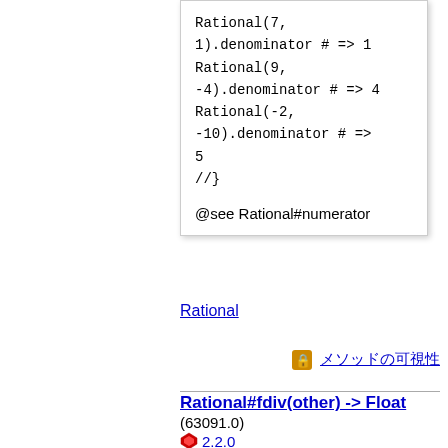Rational(7, 1).denominator # => 1
Rational(9, -4).denominator # => 4
Rational(-2, -10).denominator # => 5
//}
@see Rational#numerator
Rational
🔒 メソッドの可視性
Rational#fdiv(other) -> Float (63091.0)
2.2.0